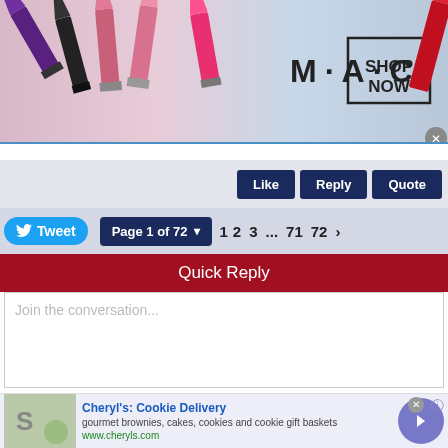[Figure (photo): MAC Cosmetics advertisement banner with lipsticks in purple, pink, and red colors, MAC logo, and SHOP NOW button]
Like   Reply   Quote
Tweet   Page 1 of 72   1  2  3  ...  71  72  ›
Quick Reply
Join the conversation...
[Figure (screenshot): Cheryl's Cookie Delivery advertisement with cookie image, title, description of gourmet brownies cakes cookies and cookie gift baskets, URL www.cheryls.com, and a blue arrow button]